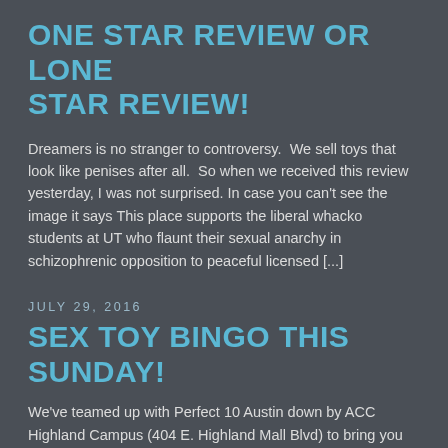ONE STAR REVIEW OR LONE STAR REVIEW!
Dreamers is no stranger to controversy.  We sell toys that look like penises after all.  So when we received this review yesterday, I was not surprised. In case you can't see the image it says This place supports the liberal whacko students at UT who flaunt their sexual anarchy in schizophrenic opposition to peaceful licensed [...]
JULY 29, 2016
SEX TOY BINGO THIS SUNDAY!
We've teamed up with Perfect 10 Austin down by ACC Highland Campus (404 E. Highland Mall Blvd) to bring you Sex Toy Bingo,